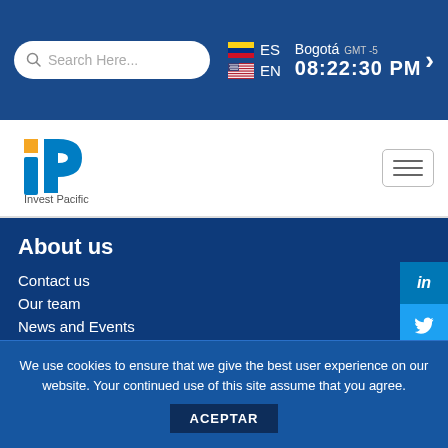Search Here... | ES | EN | Bogotá GMT-5 | 08:22:30 PM
[Figure (logo): Invest Pacific logo with blue IP letters and orange square accent, text 'Invest Pacific']
About us
Contact us
Our team
News and Events
About Invest Pacific
Reasons to invest
We use cookies to ensure that we give the best user experience on our website. Your continued use of this site assume that you agree.
ACEPTAR